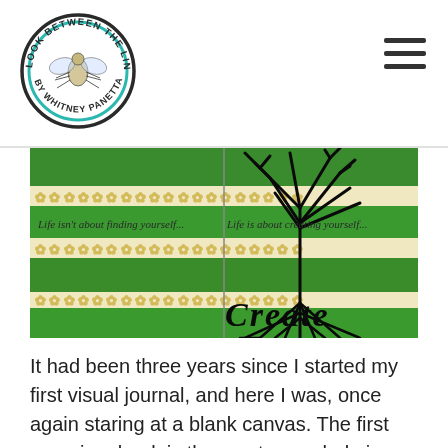[Figure (logo): Circular logo reading 'LOOK BETWEEN THE LINES BY WHITNEY PANETTA' with a fly illustration in the center]
[Figure (photo): Open visual art journal with green painted stripes, a tree with roots illustration, decorative flower patterns, and handwritten text reading 'Life isn't about finding yourself... Life is about creating yourself...' with the word 'Create' in large lettering below]
It had been three years since I started my first visual journal, and here I was, once again staring at a blank canvas. The first page in a book is the most overwhelming. Thinking about filling all of the pages, not just this one…